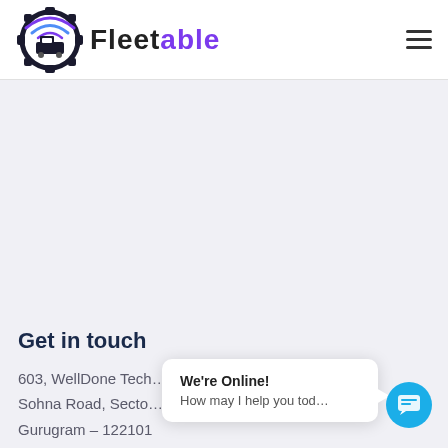[Figure (logo): Fleetable logo with gear and truck icon with wifi signals in purple/blue, and FLEETABLE text where FLEET is dark/black and ABLE is purple]
Get in touch
603, WellDone Tech...
Sohna Road, Secto...
Gurugram – 122101
We're Online!
How may I help you tod...